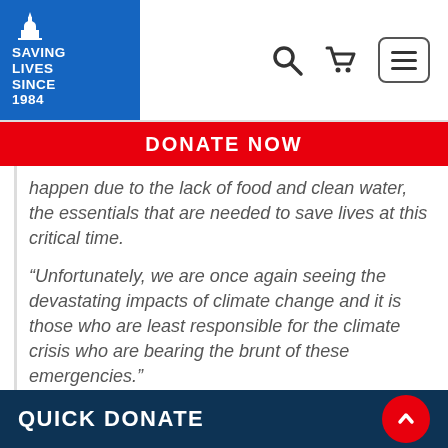[Figure (logo): Islamic Relief logo — white mosque icon with text 'SAVING LIVES SINCE 1984' on blue background]
DONATE NOW
happen due to the lack of food and clean water, the essentials that are needed to save lives at this critical time.
“Unfortunately, we are once again seeing the devastating impacts of climate change and it is those who are least responsible for the climate crisis who are bearing the brunt of these emergencies.”
Donate to Islamic Relief’s appeal
QUICK DONATE